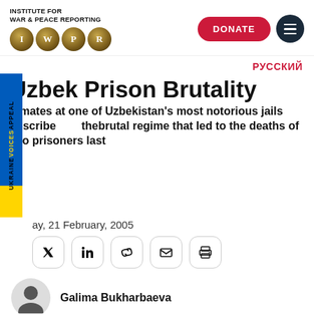[Figure (logo): Institute for War & Peace Reporting (IWPR) logo with four gold metallic letter circles I, W, P, R]
[Figure (other): DONATE button (red pill shape) and hamburger menu button (dark circle)]
РУССКИЙ
Uzbek Prison Brutality
Inmates at one of Uzbekistan's most notorious jails describe the brutal regime that led to the deaths of two prisoners last
[Figure (other): Ukraine Voices Appeal vertical sidebar strip in blue and yellow]
ay, 21 February, 2005
[Figure (other): Social sharing icons: Twitter, LinkedIn, link, email, print]
Galima Bukharbaeva